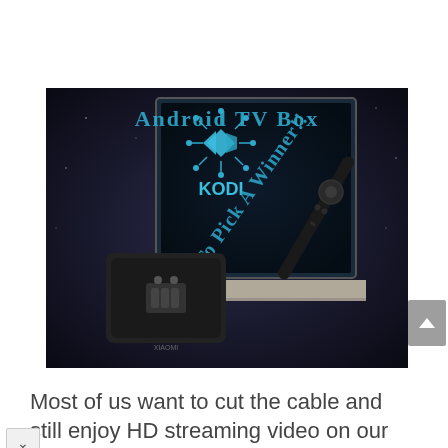[Figure (photo): An Android TV Box promotional image showing a black Android TV box device on the left, a TV remote/stick on the right, with a monitor/TV in the background displaying the KODI logo (a circuit-board diamond shape). Text overlays read 'Android TV Box' at the top in teal/cyan color, and 'How To Pick A Winner!!' diagonally in the center in cyan color.]
Most of us want to cut the cable and still enjoy HD streaming video on our